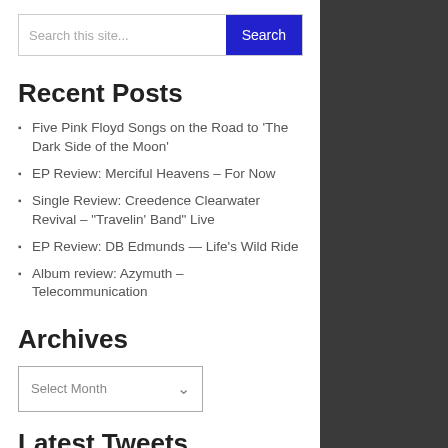Search this site...
Recent Posts
Five Pink Floyd Songs on the Road to ‘The Dark Side of the Moon’
EP Review: Merciful Heavens – For Now
Single Review: Creedence Clearwater Revival – “Travelin’ Band” Live
EP Review: DB Edmunds — Life’s Wild Ride
Album review: Azymuth – Telecommunication
Archives
Select Month
Latest Tweets